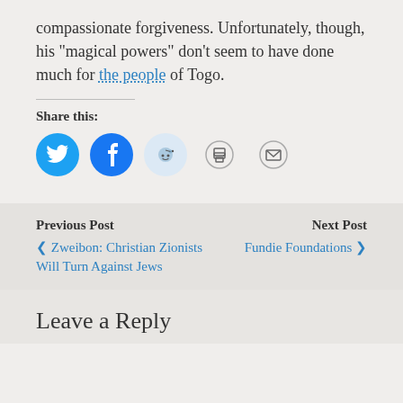compassionate forgiveness. Unfortunately, though, his “magical powers” don’t seem to have done much for the people of Togo.
Share this:
[Figure (other): Social share icons: Twitter (blue circle), Facebook (blue circle), Reddit (light blue circle), Print (gray circle outline), Email (gray circle outline)]
Previous Post
‹ Zweibon: Christian Zionists Will Turn Against Jews
Next Post
Fundie Foundations ›
Leave a Reply